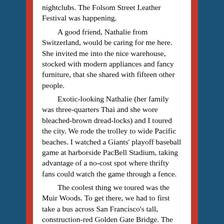nightclubs. The Folsom Street Leather Festival was happening.

A good friend, Nathalie from Switzerland, would be caring for me here. She invited me into the nice warehouse, stocked with modern appliances and fancy furniture, that she shared with fifteen other people.

Exotic-looking Nathalie (her family was three-quarters Thai and she wore bleached-brown dread-locks) and I toured the city. We rode the trolley to wide Pacific beaches. I watched a Giants' playoff baseball game at harborside PacBell Stadium, taking advantage of a no-cost spot where thrifty fans could watch the game through a fence.

The coolest thing we toured was the Muir Woods. To get there, we had to first take a bus across San Francisco's tall, construction-red Golden Gate Bridge. The sky was fluff and the bridge barely visible when we crossed it, the afternoon was so foggy. On our way back, though, we could see down to an island-guarded sound